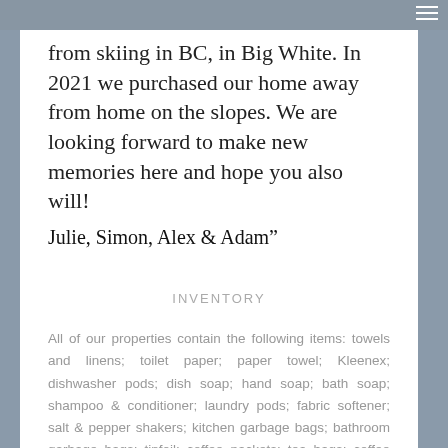from skiing in BC, in Big White. In 2021 we purchased our home away from home on the slopes. We are looking forward to make new memories here and hope you also will!
Julie, Simon, Alex & Adam"
INVENTORY
All of our properties contain the following items: towels and linens; toilet paper; paper towel; Kleenex; dishwasher pods; dish soap; hand soap; bath soap; shampoo & conditioner; laundry pods; fabric softener; salt & pepper shakers; kitchen garbage bags; bathroom garbage bags; tinfoil; coffee packets; tea bags; coffee sweeteners; and cooking oil.
CANCELLATION POLICY
We will pre-authorize a $1,000 refundable security deposit on our credit card on the check in date of your arrival. We d...